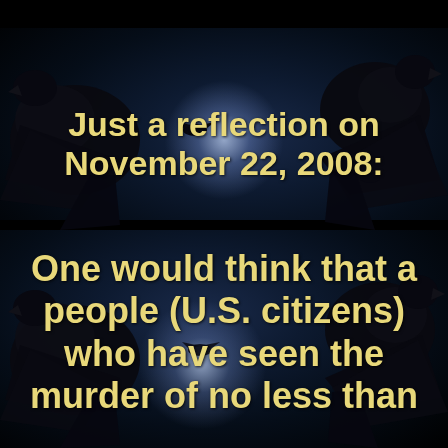[Figure (illustration): Dark atmospheric background with ravens/crows silhouetted against a blue-lit night sky with a bright glowing light source, appearing twice (top and bottom panels) with a black dividing bar]
Just a reflection on November 22, 2008:
One would think that a people (U.S. citizens) who have seen the murder of no less than